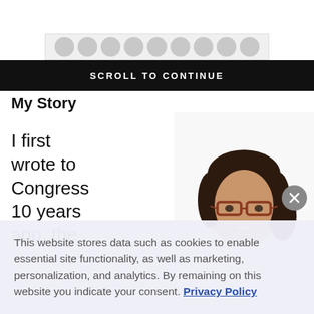[Figure (infographic): Row of grey circles on light grey background above a black scroll banner]
SCROLL TO CONTINUE
My Story
I first wrote to Congress 10 years ago, the
[Figure (photo): Woman with dark hair and glasses, smiling, wearing white, photographed from the shoulders up against a white background]
This website stores data such as cookies to enable essential site functionality, as well as marketing, personalization, and analytics. By remaining on this website you indicate your consent. Privacy Policy